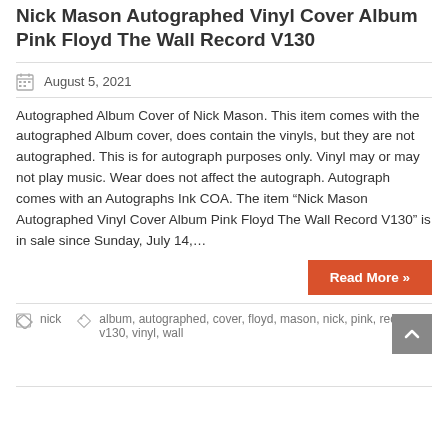Nick Mason Autographed Vinyl Cover Album Pink Floyd The Wall Record V130
August 5, 2021
Autographed Album Cover of Nick Mason. This item comes with the autographed Album cover, does contain the vinyls, but they are not autographed. This is for autograph purposes only. Vinyl may or may not play music. Wear does not affect the autograph. Autograph comes with an Autographs Ink COA. The item “Nick Mason Autographed Vinyl Cover Album Pink Floyd The Wall Record V130” is in sale since Sunday, July 14,…
Read More »
nick album, autographed, cover, floyd, mason, nick, pink, record, v130, vinyl, wall